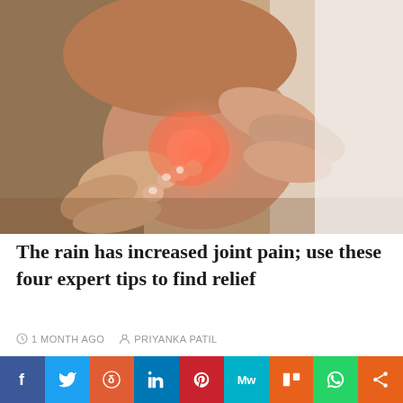[Figure (photo): Close-up photo of a person holding their knee with both hands, with a red/pink glow highlighting the knee area indicating joint pain. The person is wearing dark shorts and the background shows a light-colored surface.]
The rain has increased joint pain; use these four expert tips to find relief
1 MONTH AGO   PRIYANKA PATIL